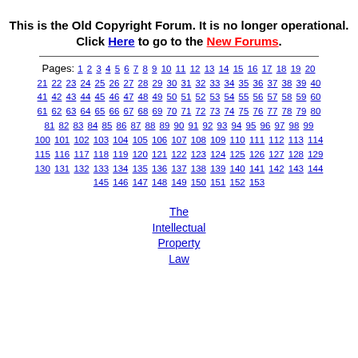This is the Old Copyright Forum. It is no longer operational. Click Here to go to the New Forums.
Pages: 1 2 3 4 5 6 7 8 9 10 11 12 13 14 15 16 17 18 19 20 21 22 23 24 25 26 27 28 29 30 31 32 33 34 35 36 37 38 39 40 41 42 43 44 45 46 47 48 49 50 51 52 53 54 55 56 57 58 59 60 61 62 63 64 65 66 67 68 69 70 71 72 73 74 75 76 77 78 79 80 81 82 83 84 85 86 87 88 89 90 91 92 93 94 95 96 97 98 99 100 101 102 103 104 105 106 107 108 109 110 111 112 113 114 115 116 117 118 119 120 121 122 123 124 125 126 127 128 129 130 131 132 133 134 135 136 137 138 139 140 141 142 143 144 145 146 147 148 149 150 151 152 153
The Intellectual Property Law